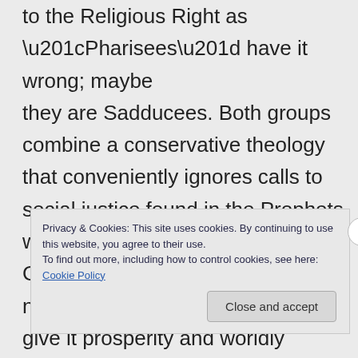to the Religious Right as “Pharisees” have it wrong; maybe they are Sadducees. Both groups combine a conservative theology that conveniently ignores calls to social justice found in the Prophets with a worship intended to earn God’s blessing on the nation, to give it prosperity and worldly power.
Privacy & Cookies: This site uses cookies. By continuing to use this website, you agree to their use.
To find out more, including how to control cookies, see here: Cookie Policy